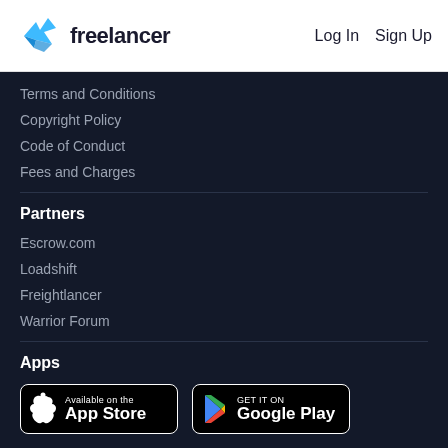freelancer  Log In  Sign Up
Terms and Conditions
Copyright Policy
Code of Conduct
Fees and Charges
Partners
Escrow.com
Loadshift
Freightlancer
Warrior Forum
Apps
[Figure (logo): App Store badge - Available on the App Store]
[Figure (logo): Google Play badge - GET IT ON Google Play]